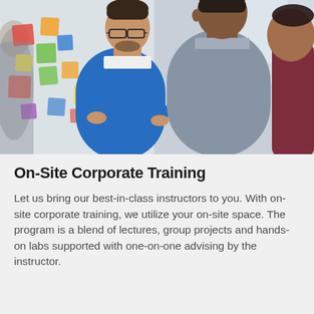[Figure (photo): Three people in an office/classroom setting looking at a whiteboard covered with colorful sticky notes. A man in a blue sweater with glasses appears to be explaining something, gesturing with his hands. A man in a grey shirt stands beside him. A partial view of a third person in dark red is on the right edge.]
On-Site Corporate Training
Let us bring our best-in-class instructors to you. With on-site corporate training, we utilize your on-site space. The program is a blend of lectures, group projects and hands-on labs supported with one-on-one advising by the instructor.